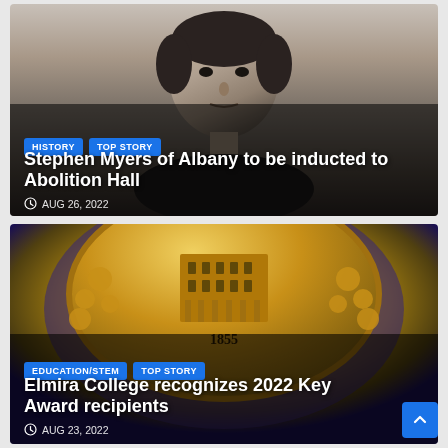[Figure (illustration): Black and white portrait illustration of Stephen Myers, a historical figure, showing his face and upper body with formal attire and bow tie]
HISTORY  TOP STORY
Stephen Myers of Albany to be inducted to Abolition Hall
AUG 26, 2022
[Figure (photo): Close-up photo of a gold university seal/medallion with the year 1855, showing an ornate building surrounded by floral decorations on a purple/blue shield background]
EDUCATION/STEM  TOP STORY
Elmira College recognizes 2022 Key Award recipients
AUG 23, 2022